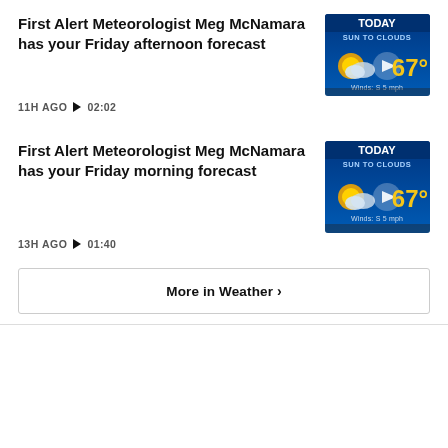First Alert Meteorologist Meg McNamara has your Friday afternoon forecast
11H AGO ▶ 02:02
[Figure (screenshot): Weather thumbnail showing TODAY, SUN TO CLOUDS, 67 degrees, Winds: S 5 mph]
First Alert Meteorologist Meg McNamara has your Friday morning forecast
13H AGO ▶ 01:40
[Figure (screenshot): Weather thumbnail showing TODAY, SUN TO CLOUDS, 67 degrees, Winds: S 5 mph]
More in Weather ›
Latest Videos
[Figure (screenshot): Video thumbnail strip showing WJZ First Alert Weather logo]